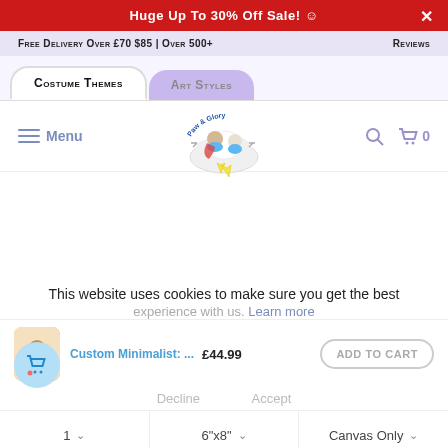Huge Up To 30% Off Sale! ☻
Free Delivery Over £70 $85 | Over 500+
Reviews
Costume Themes
Art Styles
[Figure (logo): Paw & Glory circular logo with illustrated dog and cat in superhero costumes on a cloud with lightning bolts]
Menu
This website uses cookies to make sure you get the best experience with us. Learn more
Decline
Accept
Custom Minimalist: ...
£44.99
ADD TO CART
1
6"x8"
Canvas Only